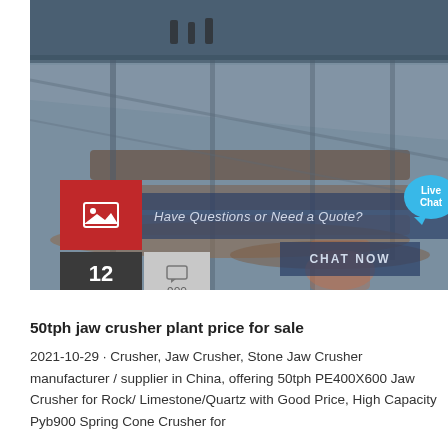[Figure (photo): Industrial facility interior showing conveyor belts, metal framework, and heavy machinery. Workers visible in background near trucks. Overlaid with UI elements including a 'Have Questions or Need a Quote?' banner, 'CHAT NOW' button, and 'Live Chat' bubble. Red image thumbnail icon visible, date badge showing '12 FEB', and comment count '900'.]
50tph jaw crusher plant price for sale
2021-10-29 · Crusher, Jaw Crusher, Stone Jaw Crusher manufacturer / supplier in China, offering 50tph PE400X600 Jaw Crusher for Rock/ Limestone/Quartz with Good Price, High Capacity Pyb900 Spring Cone Crusher for